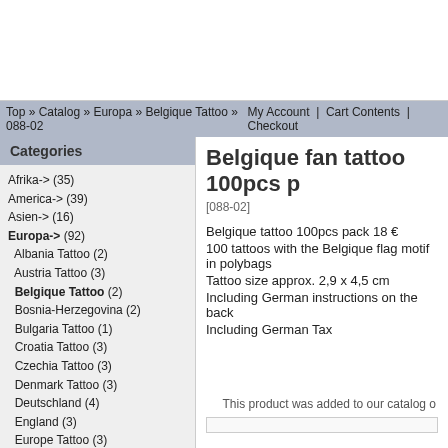Top » Catalog » Europa » Belgique Tattoo » 088-02   My Account  |  Cart Contents  |  Checkout
Categories
Afrika-> (35)
America-> (39)
Asien-> (16)
Europa-> (92)
Albania Tattoo (2)
Austria Tattoo (3)
Belgique Tattoo (2)
Bosnia-Herzegovina (2)
Bulgaria Tattoo (1)
Croatia Tattoo (3)
Czechia Tattoo (3)
Denmark Tattoo (3)
Deutschland (4)
England (3)
Europe Tattoo (3)
Finland Tattoo (3)
France Tattoo (3)
Georgien Tattoo (1)
Greece Tattoo (3)
Hungary Tattoo (1)
Irland (2)
Island Tattoo (1)
Israel Tattoo (2)
Belgique fan tattoo 100pcs p
[088-02]
Belgique tattoo 100pcs pack 18 €
100 tattoos with the Belgique flag motif in polybags
Tattoo size approx. 2,9 x 4,5 cm
Including German instructions on the back
Including German Tax
This product was added to our catalog o